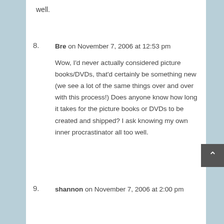well.
8.
Bre on November 7, 2006 at 12:53 pm
Wow, I'd never actually considered picture books/DVDs, that'd certainly be something new (we see a lot of the same things over and over with this process!) Does anyone know how long it takes for the picture books or DVDs to be created and shipped? I ask knowing my own inner procrastinator all too well.
9.
shannon on November 7, 2006 at 2:00 pm